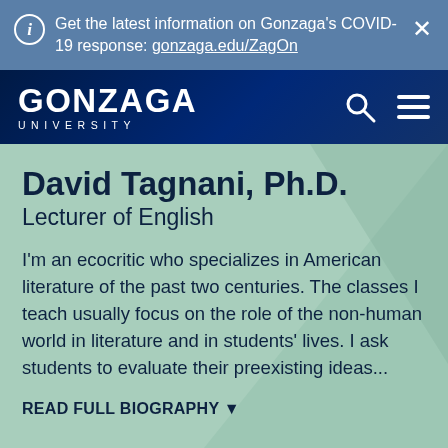Get the latest information on Gonzaga's COVID-19 response: gonzaga.edu/ZagOn
[Figure (logo): Gonzaga University logo with search and hamburger menu icons on dark navy navigation bar]
David Tagnani, Ph.D.
Lecturer of English
I'm an ecocritic who specializes in American literature of the past two centuries. The classes I teach usually focus on the role of the non-human world in literature and in students' lives. I ask students to evaluate their preexisting ideas...
READ FULL BIOGRAPHY ▾